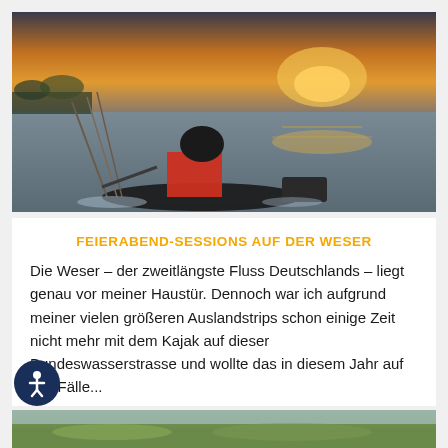[Figure (photo): Person on a kayak on a river with fishing rods, sunset light reflecting on the water, view from behind]
FEIERABEND-SESSIONS AUF DER WESER
Die Weser – der zweitlängste Fluss Deutschlands – liegt genau vor meiner Haustür. Dennoch war ich aufgrund meiner vielen größeren Auslandstrips schon einige Zeit nicht mehr mit dem Kajak auf dieser Bundeswasserstrasse und wollte das in diesem Jahr auf alle Fälle...
[Figure (photo): Partial bottom photo showing a green outdoor/nature scene]